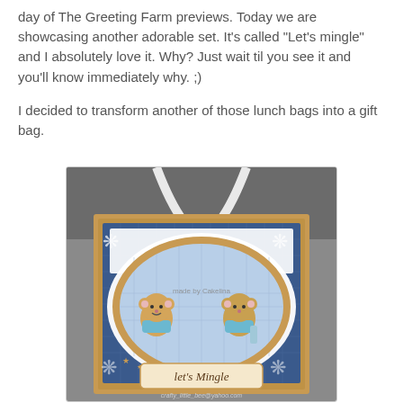day of The Greeting Farm previews. Today we are showcasing another adorable set. It's called "Let's mingle" and I absolutely love it. Why? Just wait til you see it and you'll know immediately why. ;)
I decided to transform another of those lunch bags into a gift bag.
[Figure (photo): A handmade gift bag decorated with blue patterned paper, a kraft cardstock base, a white lace doily die-cut, an oval frame with two cute mouse/hamster stamp images wearing blue shirts, and a label reading 'let's Mingle'. The bag has a white ribbon handle. A watermark reads 'crafty_little_bee@yahoo.com' and 'made by Cakelina'.]